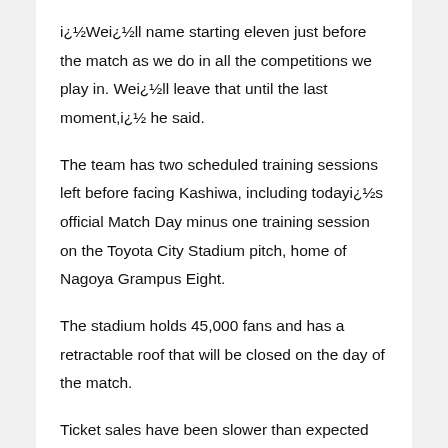i¿½Wei¿½ll name starting eleven just before the match as we do in all the competitions we play in. Wei¿½ll leave that until the last moment,i¿½ he said.
The team has two scheduled training sessions left before facing Kashiwa, including todayi¿½s official Match Day minus one training session on the Toyota City Stadium pitch, home of Nagoya Grampus Eight.
The stadium holds 45,000 fans and has a retractable roof that will be closed on the day of the match.
Ticket sales have been slower than expected with Kashiwa edging Nagoya out of the J-League title race at the weekend.